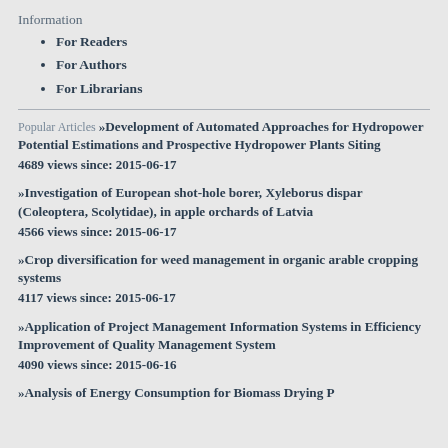Information
For Readers
For Authors
For Librarians
Popular Articles »Development of Automated Approaches for Hydropower Potential Estimations and Prospective Hydropower Plants Siting
4689 views since: 2015-06-17
»Investigation of European shot-hole borer, Xyleborus dispar (Coleoptera, Scolytidae), in apple orchards of Latvia
4566 views since: 2015-06-17
»Crop diversification for weed management in organic arable cropping systems
4117 views since: 2015-06-17
»Application of Project Management Information Systems in Efficiency Improvement of Quality Management System
4090 views since: 2015-06-16
»Analysis of Energy Consumption for Biomass Drying P...